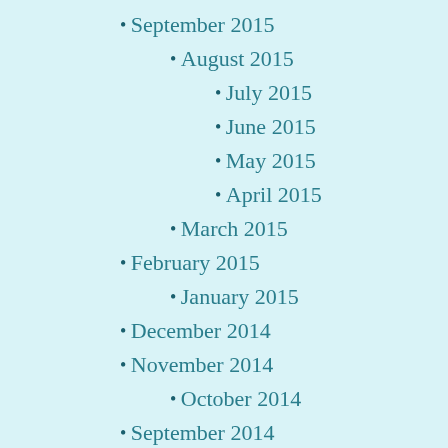September 2015
August 2015
July 2015
June 2015
May 2015
April 2015
March 2015
February 2015
January 2015
December 2014
November 2014
October 2014
September 2014
August 2014
July 2014
June 2014